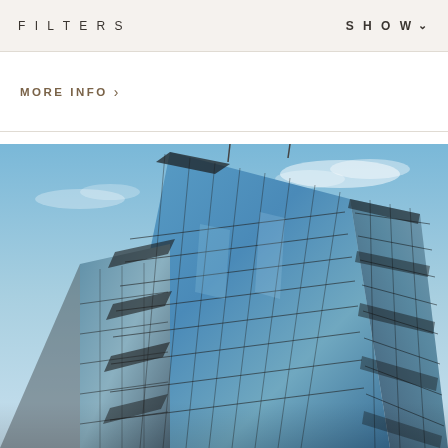FILTERS    SHOW
MORE INFO >
[Figure (photo): Exterior photograph of a modern glass-curtain-wall commercial office tower shot from ground level looking up at an angle, showing multiple stepped floors with reflective blue glass panels against a blue sky with light clouds.]